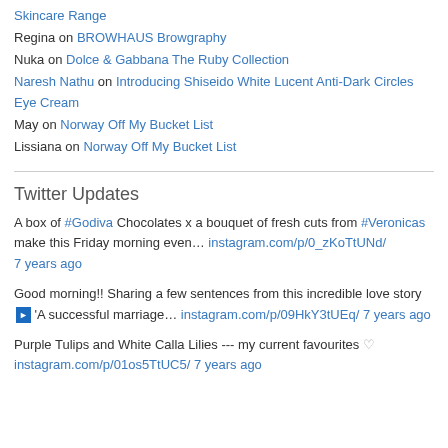Skincare Range
Regina on BROWHAUS Browgraphy
Nuka on Dolce & Gabbana The Ruby Collection
Naresh Nathu on Introducing Shiseido White Lucent Anti-Dark Circles Eye Cream
May on Norway Off My Bucket List
Lissiana on Norway Off My Bucket List
Twitter Updates
A box of #Godiva Chocolates x a bouquet of fresh cuts from #Veronicas make this Friday morning even… instagram.com/p/0_zKoTtUNd/ 7 years ago
Good morning!! Sharing a few sentences from this incredible love story ▶ 'A successful marriage… instagram.com/p/09HkY3tUEq/ 7 years ago
Purple Tulips and White Calla Lilies --- my current favourites ♡ instagram.com/p/01os5TtUC5/ 7 years ago